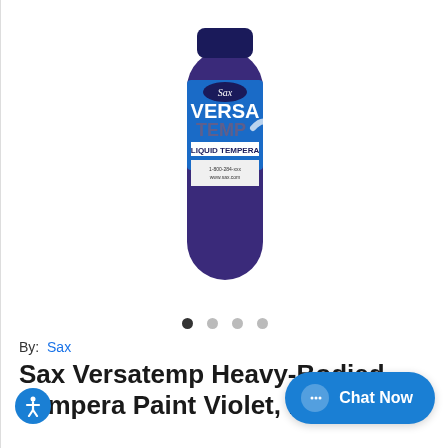[Figure (photo): A dark violet/purple cylindrical bottle of Sax Versa Temp Liquid Tempera paint, shown against a white background. The bottle has a blue label with white text reading 'Sax Versa Temp Liquid Tempera'.]
By: Sax
Sax Versatemp Heavy-Bodied Tempera Paint Violet, Pint